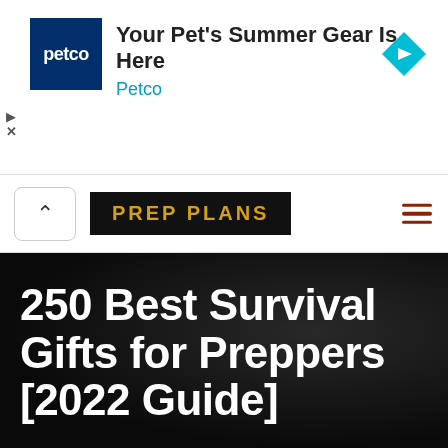[Figure (screenshot): Petco advertisement banner with dark blue Petco logo square, headline 'Your Pet's Summer Gear Is Here', subtext 'Petco' in cyan, and a cyan diamond navigation arrow icon on the right]
PREP PLANS
250 Best Survival Gifts for Preppers [2022 Guide]